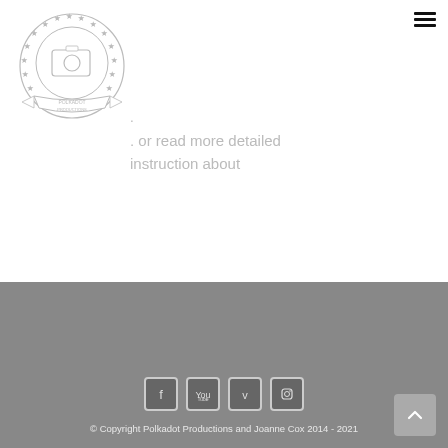[Figure (logo): Polkadot Productions circular badge logo with decorative border and ribbon]
. or read more detailed instruction about
© Copyright Polkadot Productions and Joanne Cox 2014 - 2021